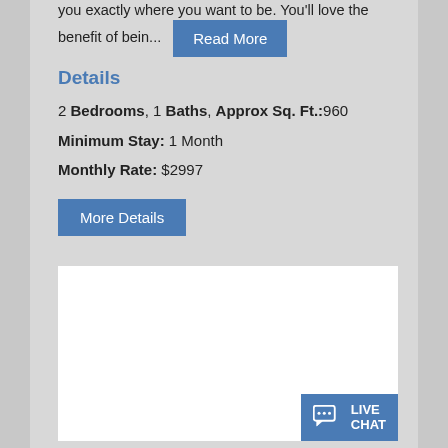you exactly where you want to be. You'll love the benefit of bein...
Details
2 Bedrooms, 1 Baths, Approx Sq. Ft.:960
Minimum Stay: 1 Month
Monthly Rate: $2997
[Figure (screenshot): White blank image area with a Live Chat button overlay in the bottom right corner]
LIVE CHAT